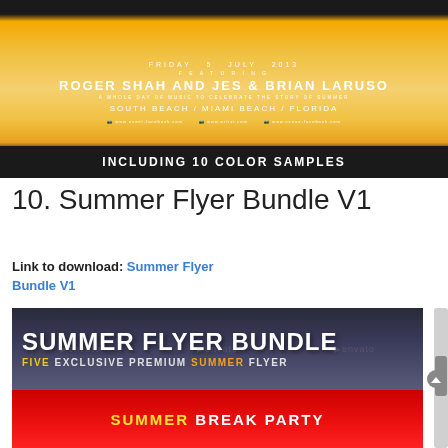[Figure (illustration): Summer event flyer showing 'ROGER SHAH AND JES & BRIAN LARUSO' at 'SOUTH BEACH / MIAMI BEACH / FLORIDA' on 'FRIDAY 5 JULY 2013', with orange/golden sunset background, dark borders top and bottom, and a bar reading 'INCLUDING 10 COLOR SAMPLES']
10. Summer Flyer Bundle V1
Link to download: Summer Flyer Bundle V1
[Figure (illustration): Summer Flyer Bundle promotional banner showing 'SUMMER FLYER BUNDLE' in large white bold text on dark blue-grey background with Envato watermarks, subtitle 'FIVE EXCLUSIVE PREMIUM SUMMER FLYER', followed by a red strip with 'SUMMER BREAK PARTY']